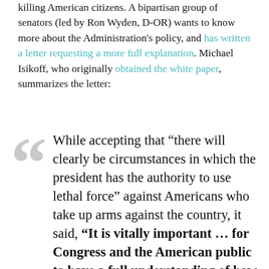killing American citizens. A bipartisan group of senators (led by Ron Wyden, D-OR) wants to know more about the Administration's policy, and has written a letter requesting a more full explanation. Michael Isikoff, who originally obtained the white paper, summarizes the letter:
While accepting that “there will clearly be circumstances in which the president has the authority to use lethal force” against Americans who take up arms against the country, it said, “It is vitally important … for Congress and the American public to have a full understanding of how the executive branch interprets